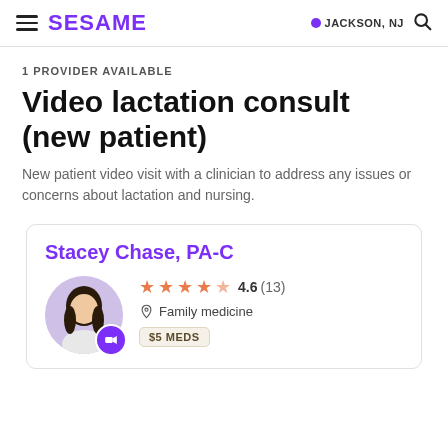SESAME | JACKSON, NJ
1 PROVIDER AVAILABLE
Video lactation consult (new patient)
New patient video visit with a clinician to address any issues or concerns about lactation and nursing.
Stacey Chase, PA-C
4.6 (13) | Family medicine | $5 MEDS